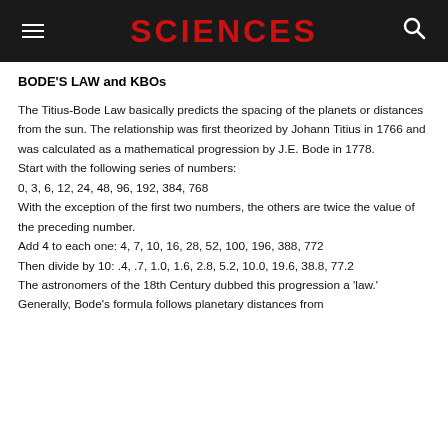SCIENCES
BODE'S LAW and KBOs
The Titius-Bode Law basically predicts the spacing of the planets or distances from the sun. The relationship was first theorized by Johann Titius in 1766 and was calculated as a mathematical progression by J.E. Bode in 1778.
Start with the following series of numbers:
0, 3, 6, 12, 24, 48, 96, 192, 384, 768
With the exception of the first two numbers, the others are twice the value of the preceding number.
Add 4 to each one: 4, 7, 10, 16, 28, 52, 100, 196, 388, 772
Then divide by 10: .4, .7, 1.0, 1.6, 2.8, 5.2, 10.0, 19.6, 38.8, 77.2
The astronomers of the 18th Century dubbed this progression a 'law.'
Generally, Bode's formula follows planetary distances from